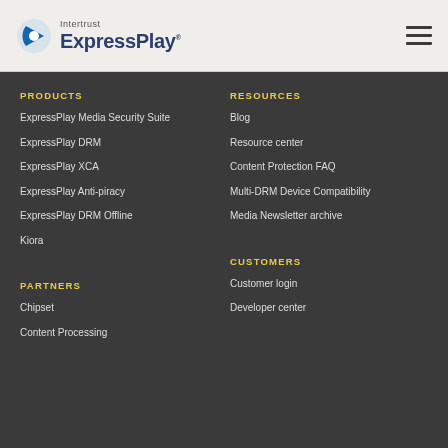Intertrust ExpressPlay
PRODUCTS
ExpressPlay Media Security Suite
ExpressPlay DRM
ExpressPlay XCA
ExpressPlay Anti-piracy
ExpressPlay DRM Offline
Kiora
RESOURCES
Blog
Resource center
Content Protection FAQ
Multi-DRM Device Compatibility
Media Newsletter archive
PARTNERS
Chipset
Content Processing
CUSTOMERS
Customer login
Developer center